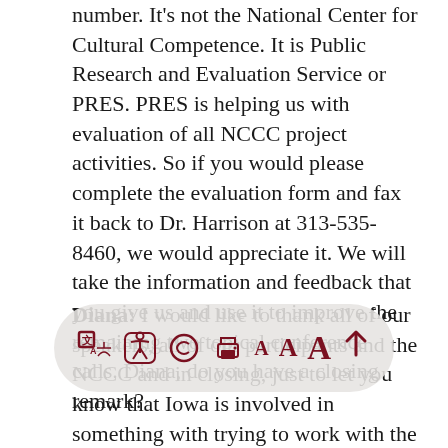number. It's not the National Center for Cultural Competence. It is Public Research and Evaluation Service or PRES. PRES is helping us with evaluation of all NCCC project activities. So if you would please complete the evaluation form and fax it back to Dr. Harrison at 313-535-8460, we would appreciate it. We will take the information and feedback that you give us and use it to improve the remaining two topical conference calls. Diana, do you have a closing remark?
Diana: I would like to thank all of our speakers, all of our participants and the NCCC and in closing, just to let you know that Iowa is involved in something with trying to work with the Mexican government. In terms of the healthcare that has been provided before people immigrated to Iowa. There is a national program which is trying to get immunization records